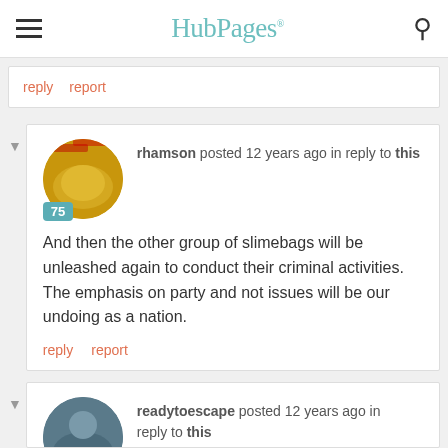HubPages
reply  report
rhamson posted 12 years ago in reply to this

And then the other group of slimebags will be unleashed again to conduct their criminal activities. The emphasis on party and not issues will be our undoing as a nation.

reply  report
readytoescape posted 12 years ago in reply to this